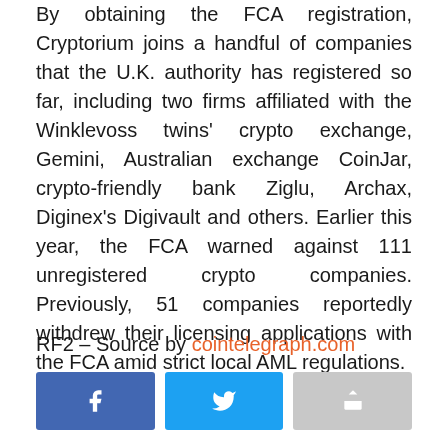By obtaining the FCA registration, Cryptorium joins a handful of companies that the U.K. authority has registered so far, including two firms affiliated with the Winklevoss twins' crypto exchange, Gemini, Australian exchange CoinJar, crypto-friendly bank Ziglu, Archax, Diginex's Digivault and others. Earlier this year, the FCA warned against 111 unregistered crypto companies. Previously, 51 companies reportedly withdrew their licensing applications with the FCA amid strict local AML regulations.
RF2 – Source by cointelegraph.com
[Figure (other): Social sharing buttons: Facebook, Twitter, and a share/forward button]